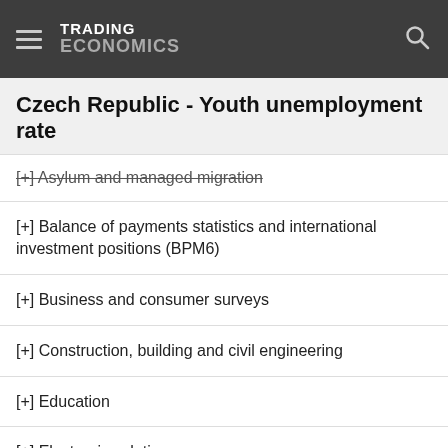TRADING ECONOMICS
Czech Republic - Youth unemployment rate
[+] Asylum and managed migration
[+] Balance of payments statistics and international investment positions (BPM6)
[+] Business and consumer surveys
[+] Construction, building and civil engineering
[+] Education
[+] Electronic solutions
[+] Employment
[+] Energy statistics
[+] Exchange rates